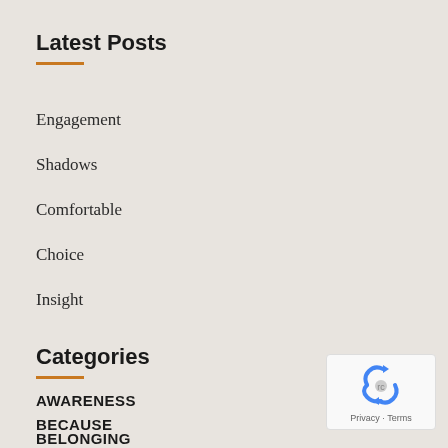Latest Posts
Engagement
Shadows
Comfortable
Choice
Insight
Categories
AWARENESS
BECAUSE
BELONGING
[Figure (logo): reCAPTCHA badge with blue recycle-arrow logo and Privacy · Terms text]